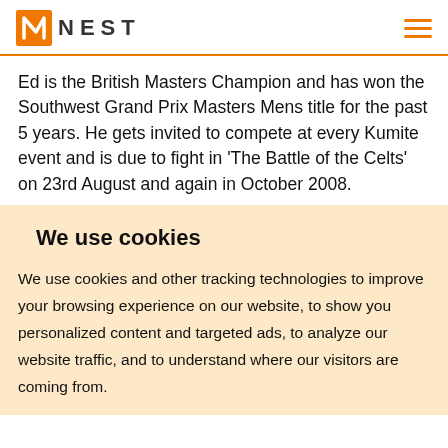NEST
Ed is the British Masters Champion and has won the Southwest Grand Prix Masters Mens title for the past 5 years. He gets invited to compete at every Kumite event and is due to fight in ‘The Battle of the Celts’ on 23rd August and again in October 2008.
We use cookies
We use cookies and other tracking technologies to improve your browsing experience on our website, to show you personalized content and targeted ads, to analyze our website traffic, and to understand where our visitors are coming from.